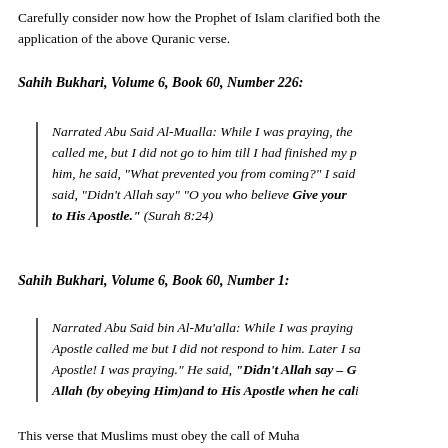Carefully consider now how the Prophet of Islam clarified both the application of the above Quranic verse.
Sahih Bukhari, Volume 6, Book 60, Number 226:
Narrated Abu Said Al-Mualla: While I was praying, the called me, but I did not go to him till I had finished my p him, he said, "What prevented you from coming?" I said said, "Didn't Allah say" "O you who believe Give your to His Apostle." (Surah 8:24)
Sahih Bukhari, Volume 6, Book 60, Number 1:
Narrated Abu Said bin Al-Mu'alla: While I was praying Apostle called me but I did not respond to him. Later I said Apostle! I was praying." He said, "Didn't Allah say – G Allah (by obeying Him)and to His Apostle when he cali
This verse that Muslims must obey the call of Allah...